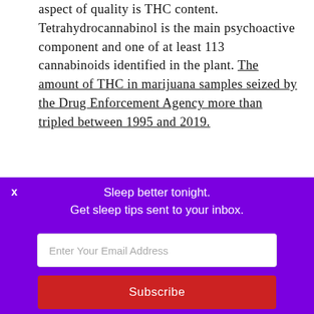aspect of quality is THC content. Tetrahydrocannabinol is the main psychoactive component and one of at least 113 cannabinoids identified in the plant. The amount of THC in marijuana samples seized by the Drug Enforcement Agency more than tripled between 1995 and 2019.
So many things have
[Figure (photo): Partial image of a Cheech and Chong related item, showing colorful text on a striped background]
Sleep better tonight.
Get sleep tips sent to your inbox.
Enter Your Email Address
Subscribe